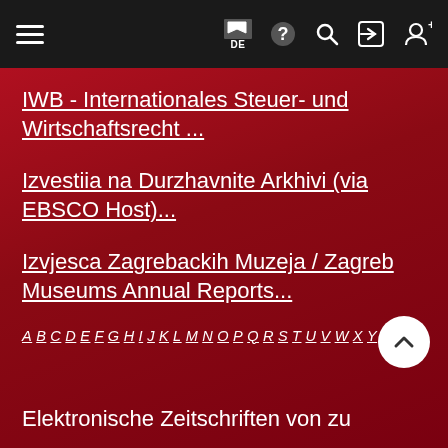Navigation bar with hamburger menu and icons: flag/DE, help, search, login, register
IWB - Internationales Steuer- und Wirtschaftsrecht ...
Izvestiia na Durzhavnite Arkhivi (via EBSCO Host)...
Izvjesca Zagrebackih Muzeja / Zagreb Museums Annual Reports...
A B C D E F G H I J K L M N O P Q R S T U V W X Y Z
Elektronische Zeitschriften von zu